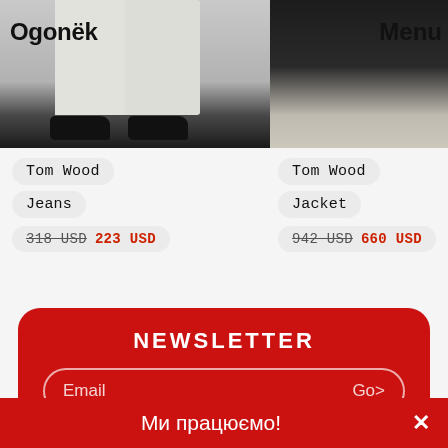[Figure (photo): Left product photo: white jeans and black shoes on grey/dark background, with 'Ogonёk' label overlay]
[Figure (photo): Right product photo: black jacket on dark background, with 'Menu' label overlay]
Tom Wood
Jeans
318 USD  223 USD
Tom Wood
Jacket
942 USD  660 USD
NEWSLETTER
Email  Go>
Breaking news, sales, activities and humor. We do not spam
BACK TO TOP ↑
Ми працюємо!